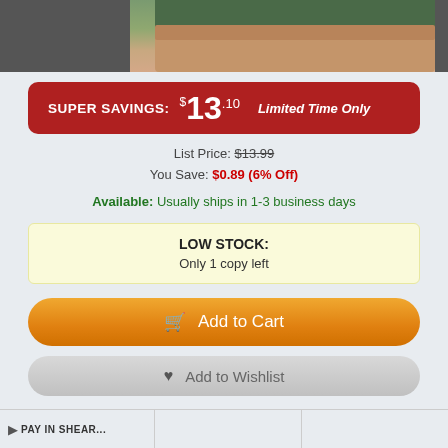[Figure (photo): Cropped photo of a person's hands, partial view against a green/brown background]
SUPER SAVINGS: $13.10  Limited Time Only
List Price: $13.99
You Save: $0.89 (6% Off)
Available: Usually ships in 1-3 business days
LOW STOCK: Only 1 copy left
Add to Cart
Add to Wishlist
Format:  CD
item number:  368GG